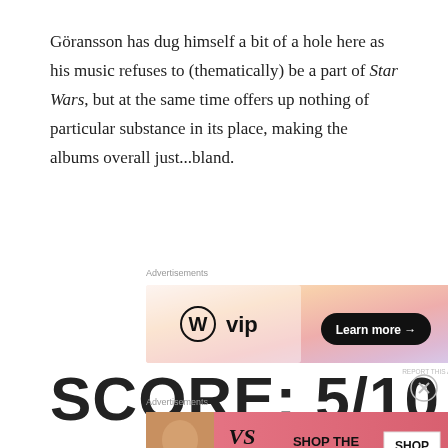Göransson has dug himself a bit of a hole here as his music refuses to (thematically) be a part of Star Wars, but at the same time offers up nothing of particular substance in its place, making the albums overall just...bland.
Advertisements
[Figure (screenshot): WordPress VIP advertisement banner with orange/pink gradient background, WordPress logo with 'vip' text on left, 'Learn more →' button on right]
SCORE: 5/10
Advertisements
[Figure (screenshot): Victoria's Secret advertisement banner with pink background, model photo on left, VS logo, 'SHOP THE COLLECTION' text, and 'SHOP NOW' button]